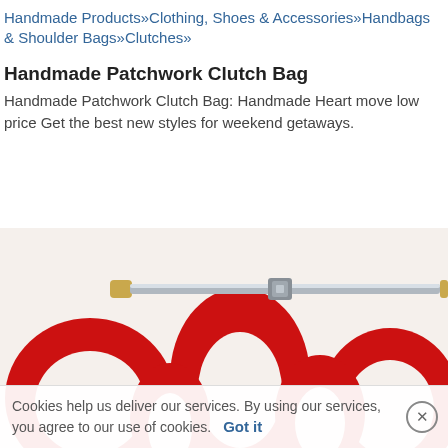Handmade Products»Clothing, Shoes & Accessories»Handbags & Shoulder Bags»Clutches»
Handmade Patchwork Clutch Bag
Handmade Patchwork Clutch Bag: Handmade Heart move low price Get the best new styles for weekend getaways.
[Figure (photo): Close-up photo of a handmade patchwork clutch bag with red and white pattern and a gold/silver metal clasp frame at the top.]
Cookies help us deliver our services. By using our services, you agree to our use of cookies.    Got it